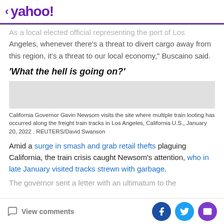< yahoo!
As a local elected official representing the port of Los Angeles, whenever there's a threat to divert cargo away from this region, it's a threat to our local economy," Buscaino said.
'What the hell is going on?'
[Figure (photo): Gray placeholder image representing a photo of California Governor Gavin Newsom visiting train looting site]
California Governor Gavin Newsom visits the site where multiple train looting has occurred along the freight train tracks in Los Angeles, California U.S., January 20, 2022 . REUTERS/David Swanson
Amid a surge in smash and grab retail thefts plaguing California, the train crisis caught Newsom's attention, who in late January visited tracks strewn with garbage.
View comments